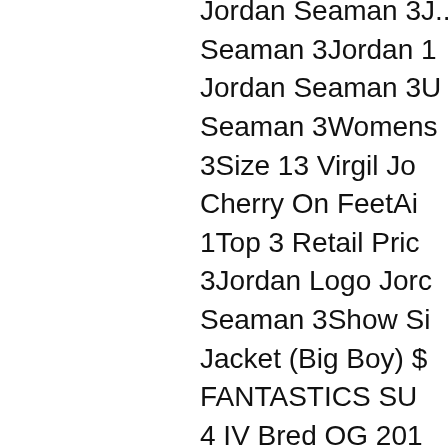Jordan Seaman 3J...
Seaman 3Jordan 1
Jordan Seaman 3U
Seaman 3Womens
3Size 13 Virgil Jo
Cherry On FeetAi
1Top 3 Retail Pric
3Jordan Logo Jord
Seaman 3Show Si
Jacket (Big Boy) $
FANTASTICS SU
4 IV Bred OG 201
chains. We will ne
Main photos are o
3Galaxy Jordan 12
Seaman 3Jordan C
Seaman 3Jordan 4
Seaman 3Jordans 1
3Jordan Retro 4 G
Black/GreenAir Jo
Space Jams Size 5
Jordan Seaman 3E
Girls' 130 DollarA
5Air Jordan Seama
NeymarAir Jordan
Jordan Seaman 3...